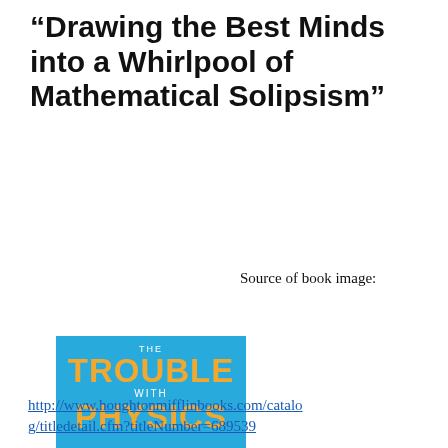“Drawing the Best Minds into a Whirlpool of Mathematical Solipsism”
[Figure (illustration): Book cover of 'The Trouble with Physics' by Lee Smolin. Blue background with two wireframe shoes and a DNA-like string between them. Orange bold title text, white subtitle text, black author name at bottom.]
Source of book image:
http://www.houghtonmifflinbooks.com/catalog/titledetail.cfm?titleNumber=689539